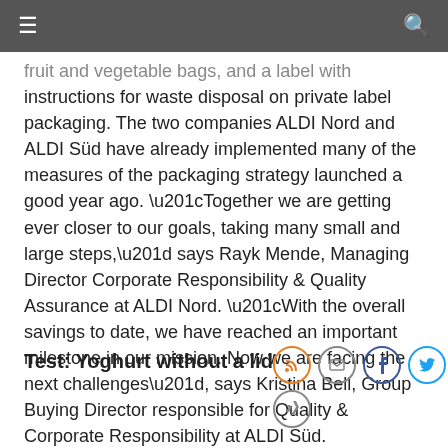Navigation bar with hamburger menu and search icon
...fruit and vegetable bags, and a label with instructions for waste disposal on private label packaging. The two companies ALDI Nord and ALDI Süd have already implemented many of the measures of the packaging strategy launched a good year ago. “Together we are getting ever closer to our goals, taking many small and large steps,” says Rayk Mende, Managing Director Corporate Responsibility & Quality Assurance at ALDI Nord. “With the overall savings to date, we have reached an important milestone in our mission. Now we are facing the next challenges”, says Kristina Bell, Group Buying Director responsible for Quality & Corporate Responsibility at ALDI Süd.
Test: Yoghurt without a lid